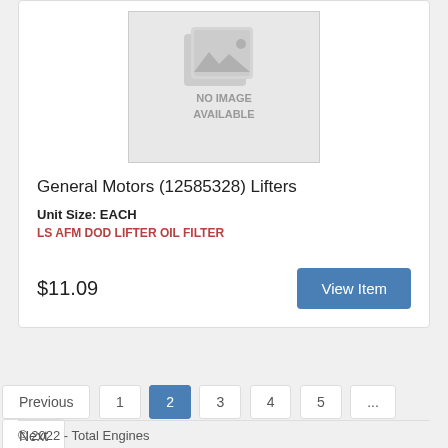[Figure (photo): No image available placeholder with grey background and image icon]
General Motors (12585328) Lifters
Unit Size: EACH
LS AFM DOD LIFTER OIL FILTER
$11.09
View Item
Previous 1 2 3 4 5 ... Next
© 2022 - Total Engines